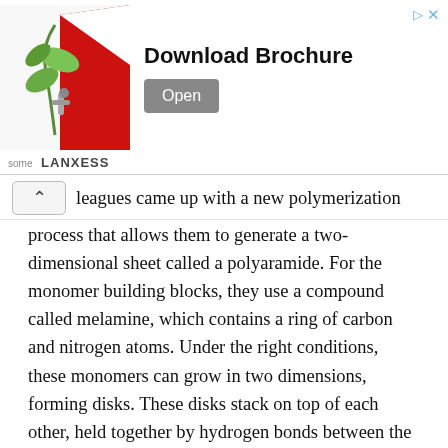[Figure (infographic): LANXESS advertisement banner with plant/leaf imagery, 'Download Brochure' title, and an 'Open' button. Has close/arrow icons in top right.]
leagues came up with a new polymerization process that allows them to generate a two-dimensional sheet called a polyaramide. For the monomer building blocks, they use a compound called melamine, which contains a ring of carbon and nitrogen atoms. Under the right conditions, these monomers can grow in two dimensions, forming disks. These disks stack on top of each other, held together by hydrogen bonds between the layers, which make the structure very stable and strong.
“Instead of making a spaghetti-like molecule, we can make a sheet-like molecular plane, where we get molecules to hook themselves together in two